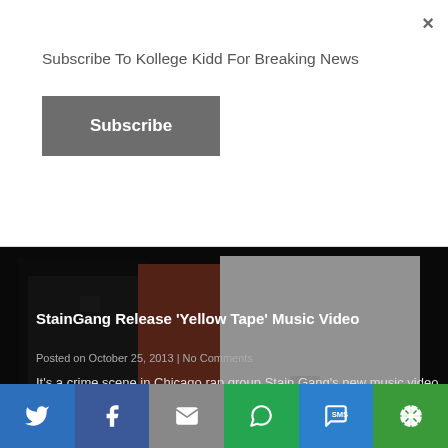Subscribe To Kollege Kidd For Breaking News
Subscribe
[Figure (photo): Dark video still showing people, one in white shirt, one in black jacket, one in dark red/maroon, a music video scene]
StainGang Release ‘Yellow Tape’ Music Video
Posted on October 25, 2013 | No Comments
It’s a crime scene in Chicago rap group Stain Gang’s new music video “Yellow Tape.”
[Figure (infographic): Social share bar with Twitter, Facebook, Email, WhatsApp, SMS, and More buttons]